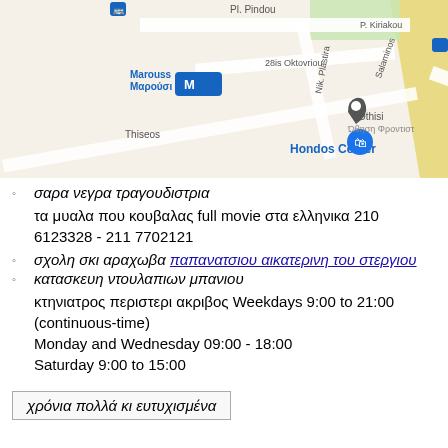[Figure (map): Google Maps screenshot showing Marousi area in Athens, Greece. Visible streets include Pl. Pindou, P. Kiriakou, 28is Oktovriou, Nik. Plastira, Vasilissis Sofias, Thiseos, Salaminos. Landmarks include Marousi metro station (M), Hondos Center, and Othisi (Ώθηση Φροντιστ...). Map shows metro/bus icons in blue.]
σαρα νεγρα τραγουδιστρια
τα μυαλα που κουβαλας full movie στα ελληνικα 210 6123328 - 211 7702121
σχολη σκι αραχωβα παπανατσιου αικατερινη του στεργιου
κατασκευη ντουλαπιων μπανιου
κτηνιατρος περιστερι ακριβος Weekdays 9:00 to 21:00 (continuous-time)
Monday and Wednesday 09:00 - 18:00
Saturday 9:00 to 15:00
χρόνια πολλά κι ευτυχισμένα